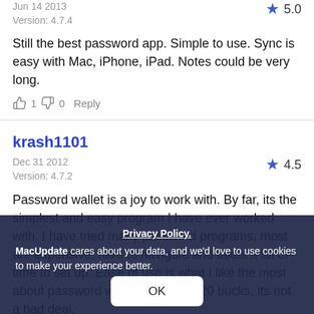Jun 14 2013
5.0
Version: 4.7.4
Still the best password app. Simple to use. Sync is easy with Mac, iPhone, iPad. Notes could be very long.
👍 1  👎 0  Reply
krash1101
Dec 31 2012
4.5
Version: 4.7.2
Password wallet is a joy to work with. By far, its the simplest and easy program I have ever worked with. I have tried many password programs, most are expensive, hard to navigate and takes a lot of time to set up. Ease of use is what I like the most about password wallet. I think for 20 bucks, its not a bad deal.
Privacy Policy.
MacUpdate cares about your data, and we'd love to use cookies to make your experience better.
OK